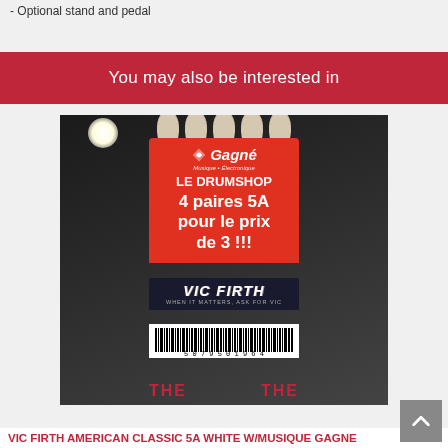Optional stand and pedal
You may also be interested in
[Figure (photo): Photo of Vic Firth drumsticks packaged with a Musique Gagné Le Drumshop promotional label reading '4 paires 5A pour le prix de 3!!!' with Vic Firth branding and a barcode reading 50795 01964]
VIC FIRTH AMERICAN CLASSIC 5A WHITE W/MUSIQUE GAGNE